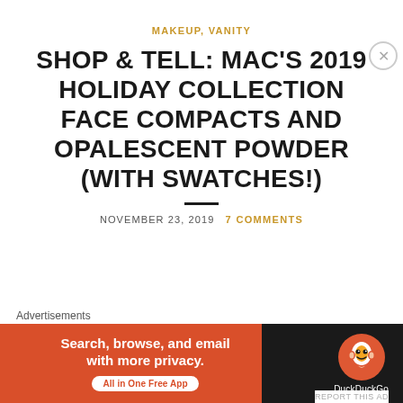MAKEUP, VANITY
SHOP & TELL: MAC'S 2019 HOLIDAY COLLECTION FACE COMPACTS AND OPALESCENT POWDER (WITH SWATCHES!)
NOVEMBER 23, 2019   7 COMMENTS
[Figure (infographic): DuckDuckGo advertisement banner: orange/black background, text 'Search, browse, and email with more privacy. All in One Free App' with DuckDuckGo duck logo.]
Advertisements